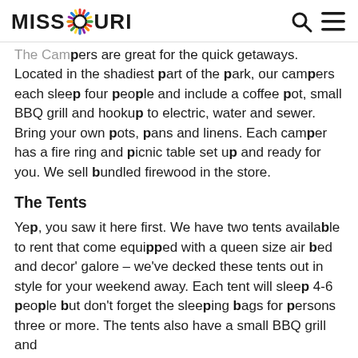MISSOURI [logo] [search icon] [menu icon]
The Campers are great for the quick getaways. Located in the shadiest part of the park, our campers each sleep four people and include a coffee pot, small BBQ grill and hookup to electric, water and sewer. Bring your own pots, pans and linens. Each camper has a fire ring and picnic table set up and ready for you. We sell bundled firewood in the store.
The Tents
Yep, you saw it here first. We have two tents available to rent that come equipped with a queen size air bed and decor' galore – we've decked these tents out in style for your weekend away. Each tent will sleep 4-6 people but don't forget the sleeping bags for persons three or more. The tents also have a small BBQ grill and